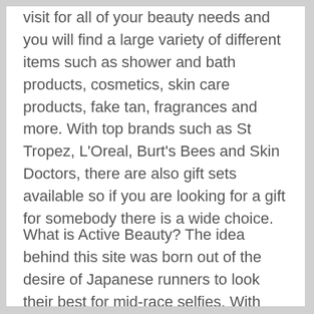visit for all of your beauty needs and you will find a large variety of different items such as shower and bath products, cosmetics, skin care products, fake tan, fragrances and more. With top brands such as St Tropez, L'Oreal, Burt's Bees and Skin Doctors, there are also gift sets available so if you are looking for a gift for somebody there is a wide choice.
What is Active Beauty? The idea behind this site was born out of the desire of Japanese runners to look their best for mid-race selfies. With